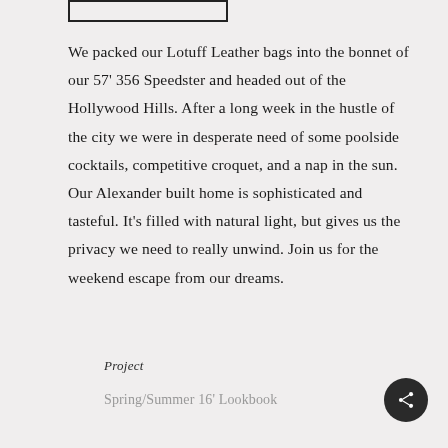[Figure (other): Small rectangular box outline at top left area]
We packed our Lotuff Leather bags into the bonnet of our 57' 356 Speedster and headed out of the Hollywood Hills. After a long week in the hustle of the city we were in desperate need of some poolside cocktails, competitive croquet, and a nap in the sun. Our Alexander built home is sophisticated and tasteful. It's filled with natural light, but gives us the privacy we need to really unwind. Join us for the weekend escape from our dreams.
Project
Spring/Summer 16' Lookbook